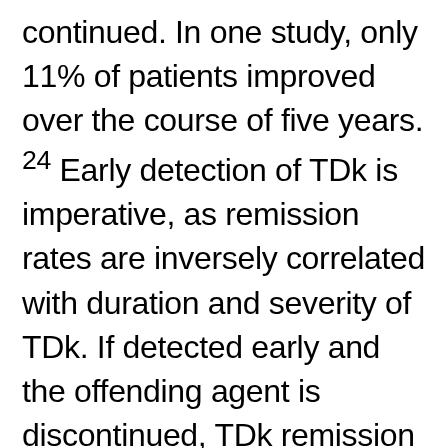continued. In one study, only 11% of patients improved over the course of five years. 24 Early detection of TDk is imperative, as remission rates are inversely correlated with duration and severity of TDk. If detected early and the offending agent is discontinued, TDk remission rates are favorable, especially in the younger population, but may require several months to years to resolve. However, the